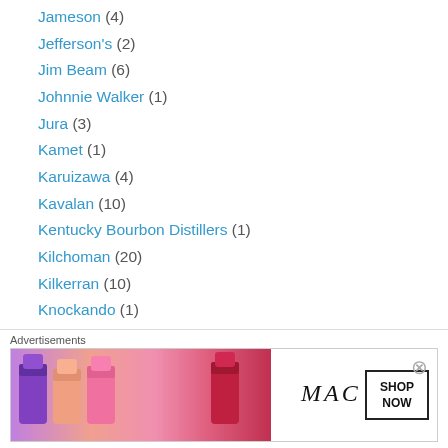Jameson (4)
Jefferson's (2)
Jim Beam (6)
Johnnie Walker (1)
Jura (3)
Kamet (1)
Karuizawa (4)
Kavalan (10)
Kentucky Bourbon Distillers (1)
Kilchoman (20)
Kilkerran (10)
Knockando (1)
Koval (1)
Lagavulin (39)
Laphroaig (74)
Ledaig (31)
Linkwood (10)
[Figure (photo): MAC cosmetics advertisement showing lipsticks with SHOP NOW button]